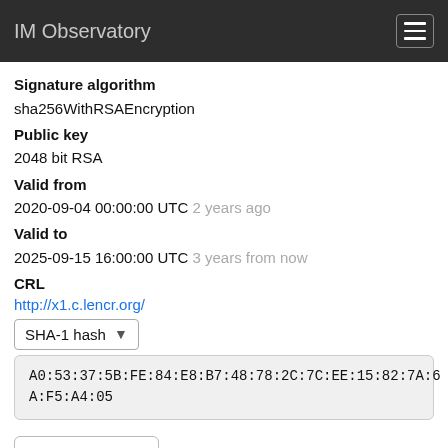IM Observatory
Signature algorithm
sha256WithRSAEncryption
Public key
2048 bit RSA
Valid from
2020-09-04 00:00:00 UTC 2 years ago
Valid to
2025-09-15 16:00:00 UTC 3 years from now
CRL
http://x1.c.lencr.org/
SHA-1 hash
A0:53:37:5B:FE:84:E8:B7:48:78:2C:7C:EE:15:82:7A:6A:F5:A4:05
Show PEM
ISRG Root X1